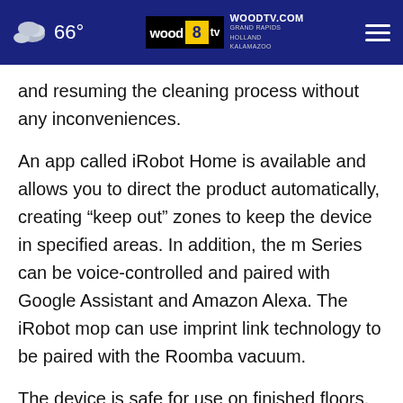66° | WOODTV.COM GRAND RAPIDS HOLLAND KALAMAZOO | wood 8 tv
and resuming the cleaning process without any inconveniences.
An app called iRobot Home is available and allows you to direct the product automatically, creating “keep out” zones to keep the device in specified areas. In addition, the m Series can be voice-controlled and paired with Google Assistant and Amazon Alexa. The iRobot mop can use imprint link technology to be paired with the Roomba vacuum.
The device is safe for use on finished floors, including hardwood, tile and stone. It has the versatility to clean around objects and underneath furniture. The